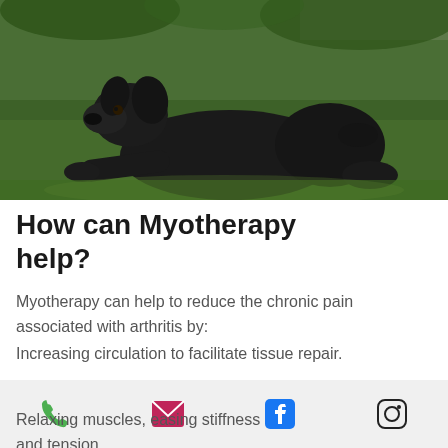[Figure (photo): A black Labrador dog lying on green grass in an outdoor garden setting]
How can Myotherapy help?
Myotherapy can help to reduce the chronic pain associated with arthritis by:
Increasing circulation to facilitate tissue repair.
Aiding a reduction in swelling.
Relaxing muscles, easing stiffness and tension.
Phone | Email | Facebook | Instagram